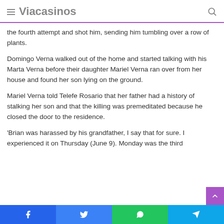Viacasinos
the fourth attempt and shot him, sending him tumbling over a row of plants.
Domingo Verna walked out of the home and started talking with his Marta Verna before their daughter Mariel Verna ran over from her house and found her son lying on the ground.
Mariel Verna told Telefe Rosario that her father had a history of stalking her son and that the killing was premeditated because he closed the door to the residence.
'Brian was harassed by his grandfather, I say that for sure. I experienced it on Thursday (June 9). Monday was the third
Facebook Twitter WhatsApp Telegram